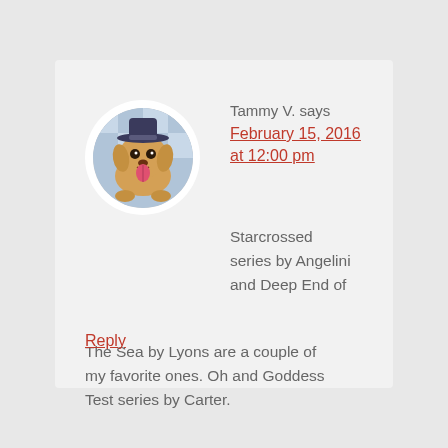[Figure (photo): Circular avatar photo of a cartoon/illustrated dog with tongue out wearing a hat, shown in a white circular frame]
Tammy V. says
February 15, 2016 at 12:00 pm
Starcrossed series by Angelini and Deep End of The Sea by Lyons are a couple of my favorite ones. Oh and Goddess Test series by Carter.
Reply